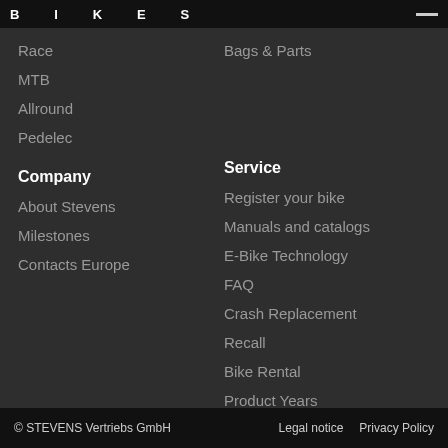BIKES
Race
MTB
Allround
Pedelec
Bags & Parts
Company
Service
About Stevens
Milestones
Contacts Europe
Register your bike
Manuals and catalogs
E-Bike Technology
FAQ
Crash Replacement
Recall
Bike Rental
Product Years
© STEVENS Vertriebs GmbH    Legal notice    Privacy Policy